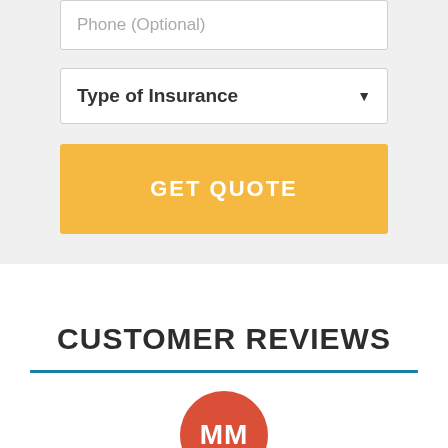Phone (Optional)
Type of Insurance
GET QUOTE
CUSTOMER REVIEWS
[Figure (illustration): Red circular avatar with white initials MM]